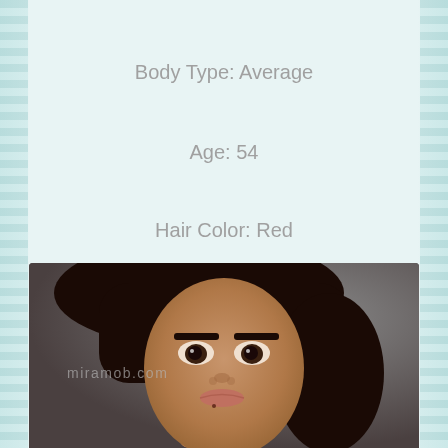Body Type: Average
Age: 54
Hair Color: Red
Status: No Strings Attached
City: Ayrshire, IA 50515
[Figure (photo): Close-up selfie photo of a woman with dark hair and dark eyes, taken at close range, with a grey/dark background. Watermark reading 'miramob.com' overlaid on the image.]